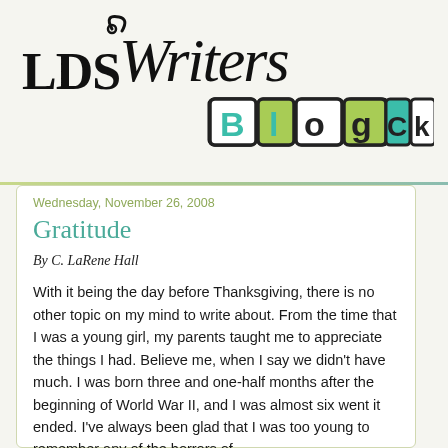[Figure (logo): LDS Writers Blogck logo with stylized handwritten text 'LDS Writers' and colored block letters spelling 'Blogck' in green, teal, and black squares]
Wednesday, November 26, 2008
Gratitude
By C. LaRene Hall
With it being the day before Thanksgiving, there is no other topic on my mind to write about. From the time that I was a young girl, my parents taught me to appreciate the things I had. Believe me, when I say we didn't have much. I was born three and one-half months after the beginning of World War II, and I was almost six went it ended. I've always been glad that I was too young to remember any of the horrors of